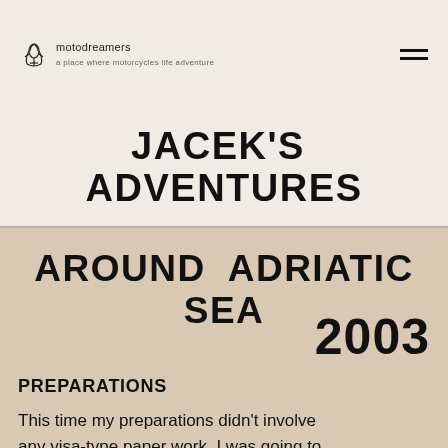motodreamers
JACEK'S ADVENTURES
AROUND ADRIATIC SEA
2003
PREPARATIONS
This time my preparations didn't involve any visa-type paper work. I was going to